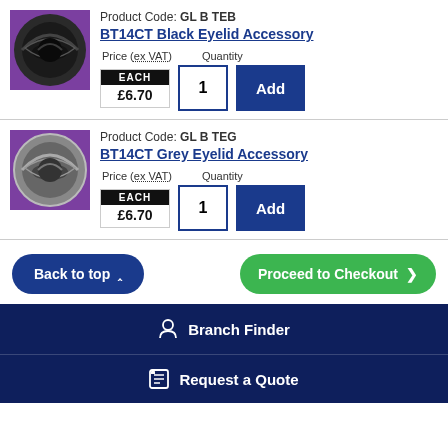[Figure (photo): BT14CT Black Eyelid Accessory product photo - circular black fixture on purple background]
Product Code: GL B TEB
BT14CT Black Eyelid Accessory
Price (ex VAT)  Quantity  EACH  £6.70  1  Add
[Figure (photo): BT14CT Grey Eyelid Accessory product photo - circular grey fixture on purple background]
Product Code: GL B TEG
BT14CT Grey Eyelid Accessory
Price (ex VAT)  Quantity  EACH  £6.70  1  Add
Back to top
Proceed to Checkout
Branch Finder
Request a Quote